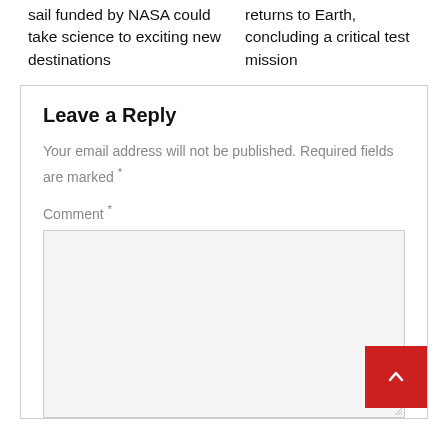sail funded by NASA could take science to exciting new destinations
returns to Earth, concluding a critical test mission
Leave a Reply
Your email address will not be published. Required fields are marked *
Comment *